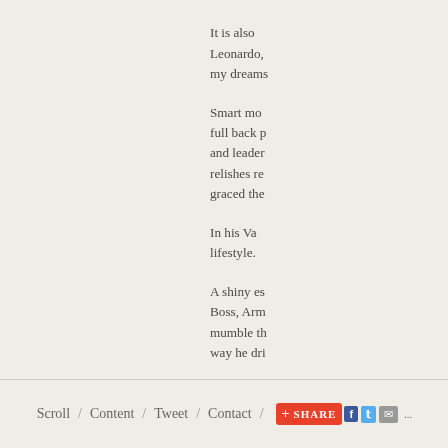It is also Leonardo, my dreams
Smart mo full back p and leader relishes re graced the
In his Va lifestyle.
A shiny es Boss, Arm mumble th way he dri
But life in one. The forward in a free trans
Scroll / Content / Tweet / Contact / SHARE